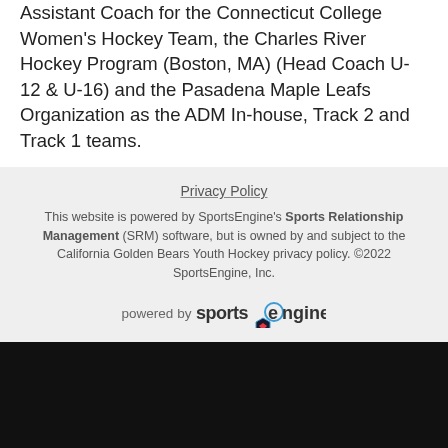Assistant Coach for the Connecticut College Women's Hockey Team, the Charles River Hockey Program (Boston, MA) (Head Coach U-12 & U-16) and the Pasadena Maple Leafs Organization as the ADM In-house, Track 2 and Track 1 teams.
Privacy Policy
This website is powered by SportsEngine's Sports Relationship Management (SRM) software, but is owned by and subject to the California Golden Bears Youth Hockey privacy policy. ©2022 SportsEngine, Inc.
powered by sportsengine